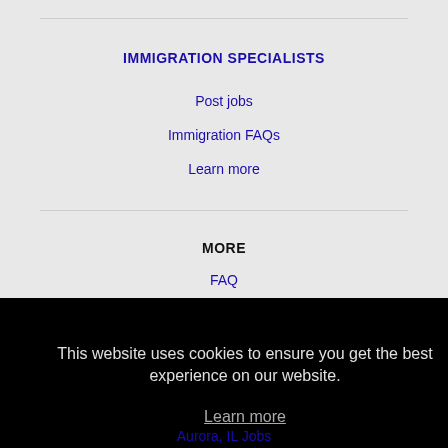IMMIGRATION SPECIALISTS
Post jobs
Immigration FAQs
Learn more
MORE
FAQ
This website uses cookies to ensure you get the best experience on our website.
Learn more
Got it!
Aurora, IL Jobs